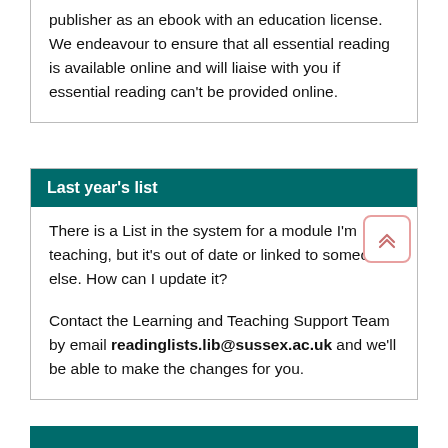publisher as an ebook with an education license. We endeavour to ensure that all essential reading is available online and will liaise with you if essential reading can't be provided online.
Last year's list
There is a List in the system for a module I'm teaching, but it's out of date or linked to someone else. How can I update it?
Contact the Learning and Teaching Support Team by email readinglists.lib@sussex.ac.uk and we'll be able to make the changes for you.